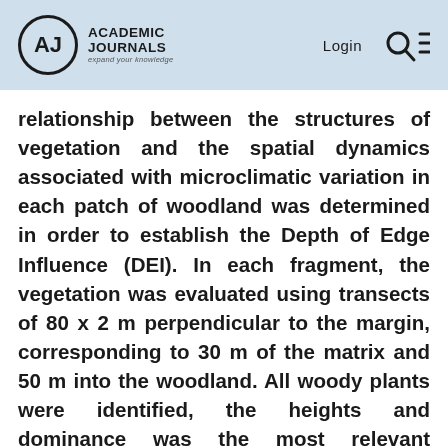Academic Journals — expand your knowledge | Login
relationship between the structures of vegetation and the spatial dynamics associated with microclimatic variation in each patch of woodland was determined in order to establish the Depth of Edge Influence (DEI). In each fragment, the vegetation was evaluated using transects of 80 x 2 m perpendicular to the margin, corresponding to 30 m of the matrix and 50 m into the woodland. All woody plants were identified, the heights and dominance was the most relevant features to determining the structure of the forest edge.